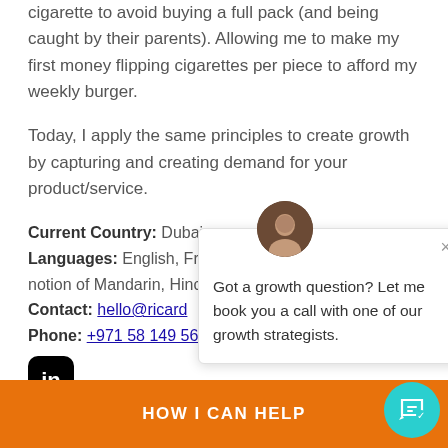cigarette to avoid buying a full pack (and being caught by their parents). Allowing me to make my first money flipping cigarettes per piece to afford my weekly burger.
Today, I apply the same principles to create growth by capturing and creating demand for your product/service.
Current Country: Dubai.
Languages: English, French, Spanish, Dutch with a notion of Mandarin, Hind...
Contact: hello@ricard...
Phone: +971 58 149 56...
[Figure (logo): LinkedIn icon - black rounded square with 'in' white text]
Got a growth question? Let me book you a call with one of our growth strategists.
HOW I CAN HELP